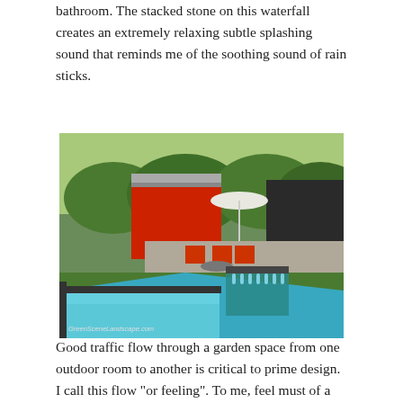bathroom. The stacked stone on this waterfall creates an extremely relaxing subtle splashing sound that reminds me of the soothing sound of rain sticks.
[Figure (photo): Outdoor pool and spa area with modern patio furniture (red chairs), a red architectural structure, white umbrella, and lush greenery in the background. Water feature visible with small waterfalls from spa into pool. Watermark: GreenSceneLandscape.com]
Good traffic flow through a garden space from one outdoor room to another is critical to prime design. I call this flow "or feeling". To me, feel must of a...